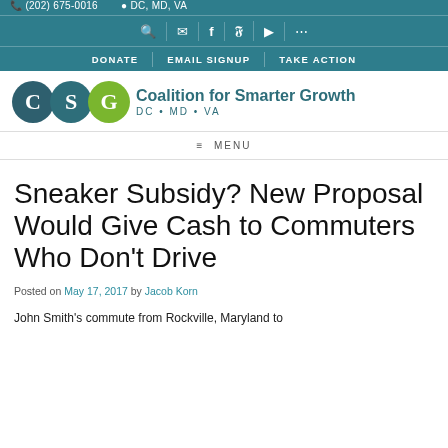(202) 675-0016  DC, MD, VA  [icons: search, email, facebook, twitter, youtube, flickr]  DONATE  EMAIL SIGNUP  TAKE ACTION
[Figure (logo): Coalition for Smarter Growth logo with C, S, G circles and text 'Coalition for Smarter Growth DC • MD • VA']
≡ MENU
Sneaker Subsidy? New Proposal Would Give Cash to Commuters Who Don't Drive
Posted on May 17, 2017 by Jacob Korn
John Smith's commute from Rockville, Maryland to